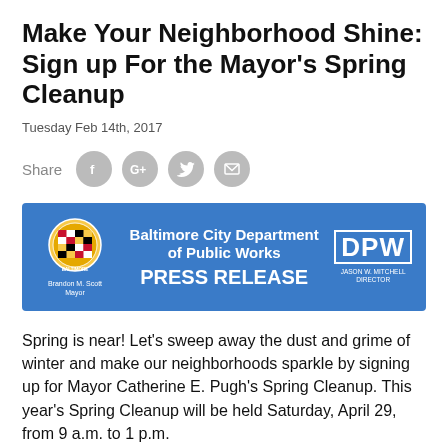Make Your Neighborhood Shine: Sign up For the Mayor's Spring Cleanup
Tuesday Feb 14th, 2017
[Figure (infographic): Baltimore City Department of Public Works Press Release banner with city seal on left, DPW logo on right, and department name and PRESS RELEASE text in center on blue background]
Spring is near! Let’s sweep away the dust and grime of winter and make our neighborhoods sparkle by signing up for Mayor Catherine E. Pugh’s Spring Cleanup. This year’s Spring Cleanup will be held Saturday, April 29, from 9 a.m. to 1 p.m.
Communities can start preparing for spring cleaning by